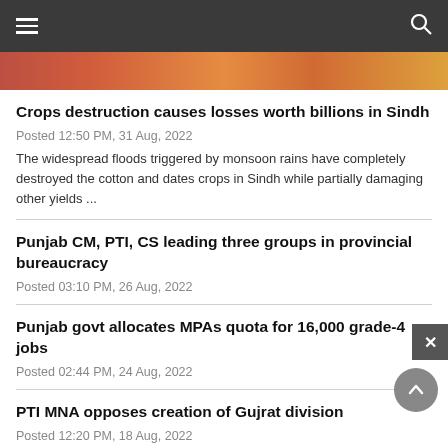Navigation bar with hamburger menu and search icon
[Figure (photo): Partial hero image strip showing flood/crops imagery in orange, red and amber tones]
Crops destruction causes losses worth billions in Sindh
Posted 12:50 PM, 31 Aug, 2022
The widespread floods triggered by monsoon rains have completely destroyed the cotton and dates crops in Sindh while partially damaging other yields ...
Punjab CM, PTI, CS leading three groups in provincial bureaucracy
Posted 03:10 PM, 26 Aug, 2022
Punjab govt allocates MPAs quota for 16,000 grade-4 jobs
Posted 02:44 PM, 24 Aug, 2022
PTI MNA opposes creation of Gujrat division
Posted 12:20 PM, 18 Aug, 2022